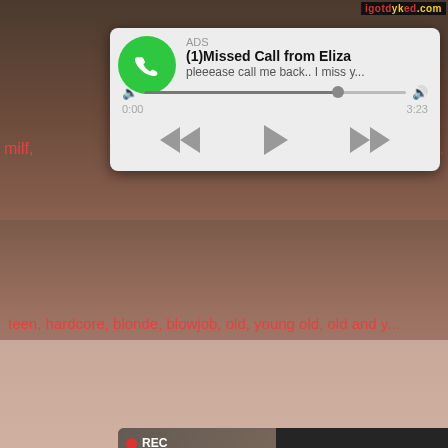[Figure (screenshot): Screenshot of an adult video website with overlaid ad popups. Top shows a watermark 'igotdyked.com' and text links 'milf' and 'her...'. Middle shows a phone call missed call notification ad and a dating ad. Bottom shows tag links: teen, hardcore, blonde, blowjob, old, young old, old and y...]
ADS
(1)Missed Call from Eliza
pleeease call me back.. I miss y...
0:00
3:23
REC
ADS • 🔞 Dating for men!
Find bad girls here 🔞
teen, hardcore, blonde, blowjob, old, young old, old and y...
milf,
her...